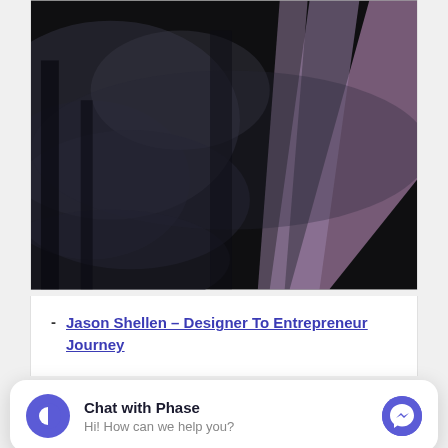[Figure (photo): Dark atmospheric photo with misty/foggy effect and purple/pink diagonal light streaks or beams across a dark background]
Jason Shellen – Designer To Entrepreneur Journey
[Figure (infographic): Chat widget overlay: Phase logo (half-circle icon), 'Chat with Phase' heading, 'Hi! How can we help you?' subtitle, Facebook Messenger icon button]
Mailist Story